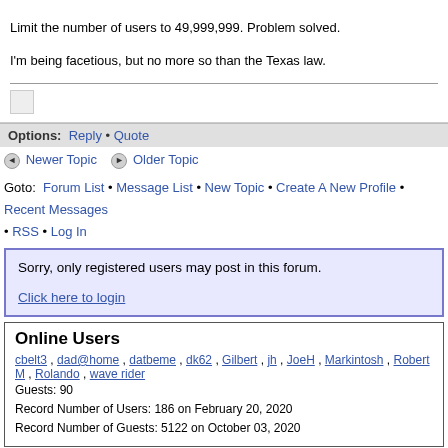Limit the number of users to 49,999,999. Problem solved.

I'm being facetious, but no more so than the Texas law.
Options: Reply • Quote
Newer Topic   Older Topic
Goto: Forum List • Message List • New Topic • Create A New Profile • Recent Messages • RSS • Log In
Sorry, only registered users may post in this forum.

Click here to login
Online Users
cbelt3 , dad@home , datbeme , dk62 , Gilbert , jh , JoeH , Markintosh , Robert M , Rolando , wave rider
Guests: 90
Record Number of Users: 186 on February 20, 2020
Record Number of Guests: 5122 on October 03, 2020
Member Map | Contact Us
Use of MacResource.com and the Forums are subject to the Terms of Service. MacResource.com; All Rights Reserved. All other copyrights are property of the